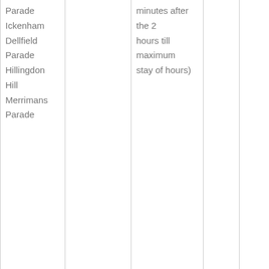| Location | Duration | Period | Charge (Mon-Sat) | Charge (Sun) |
| --- | --- | --- | --- | --- |
| Parade
Ickenham
Dellfield
Parade
Hillingdon
Hill
Merrimans
Parade |  | minutes after the 2 hours till maximum stay of hours) |  |  |
| Belmore
Parade | This scheme has a duration of 10 hours and 40 minutes | Up to 30 minutes | Free | 50p |
|  |  | Up to 1 hour | 30p | £1.8 |
|  |  | Up to 1.5 hours | 60p | £3 |
|  |  | Up to 2 hours | 90p | £4 |
|  |  | Per 20 | 30p | £1 |